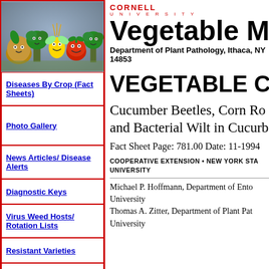[Figure (illustration): Cartoon vegetable characters (potato, tomato, corn, broccoli, etc.) posing together on a purple/blue background]
Diseases By Crop (Fact Sheets)
Photo Gallery
News Articles/ Disease Alerts
Diagnostic Keys
Virus Weed Hosts/ Rotation Lists
Resistant Varieties
Glossary of Plant Pathology Terms
Vegetable Guidelines
Vegetable IPM
CORNELL UNIVERSITY Vegetable MD Department of Plant Pathology, Ithaca, NY 14853
VEGETABLE CRO
Cucumber Beetles, Corn Ro and Bacterial Wilt in Cucurb
Fact Sheet Page: 781.00 Date: 11-1994
COOPERATIVE EXTENSION • NEW YORK STA UNIVERSITY
Michael P. Hoffmann, Department of Ento University
Thomas A. Zitter, Department of Plant Pat University